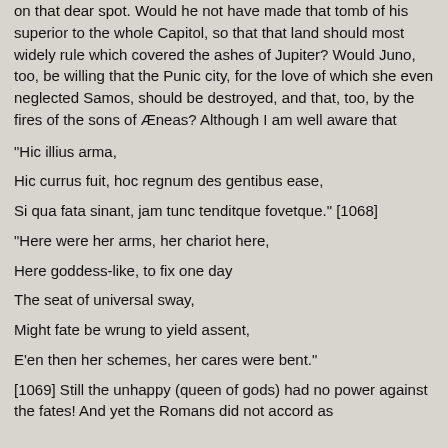on that dear spot. Would he not have made that tomb of his superior to the whole Capitol, so that that land should most widely rule which covered the ashes of Jupiter? Would Juno, too, be willing that the Punic city, for the love of which she even neglected Samos, should be destroyed, and that, too, by the fires of the sons of Æneas? Although I am well aware that
"Hic illius arma,

Hic currus fuit, hoc regnum des gentibus ease,

Si qua fata sinant, jam tunc tenditque fovetque." [1068]

"Here were her arms, her chariot here,

Here goddess-like, to fix one day

The seat of universal sway,

Might fate be wrung to yield assent,

E'en then her schemes, her cares were bent."
[1069] Still the unhappy (queen of gods) had no power against the fates! And yet the Romans did not accord as